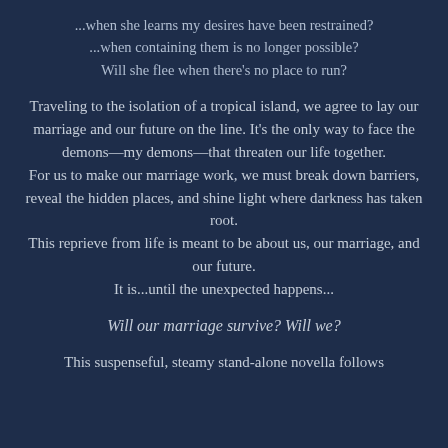...when she learns my desires have been restrained?
...when containing them is no longer possible?
Will she flee when there's no place to run?
Traveling to the isolation of a tropical island, we agree to lay our marriage and our future on the line. It's the only way to face the demons—my demons—that threaten our life together.
For us to make our marriage work, we must break down barriers, reveal the hidden places, and shine light where darkness has taken root.
This reprieve from life is meant to be about us, our marriage, and our future.
It is...until the unexpected happens...
Will our marriage survive? Will we?
This suspenseful, steamy stand-alone novella follows